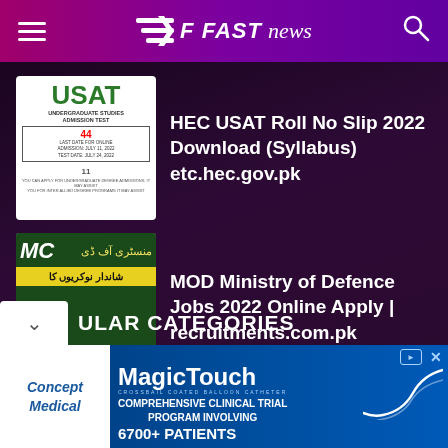FAST news
[Figure (photo): USAT Undergraduate Studies Admission Test thumbnail image with green USAT text]
HEC USAT Roll No Slip 2022 Download (Syllabus) etc.hec.gov.pk
[Figure (photo): MOD Ministry of Defence thumbnail with green background, Urdu text, yellow bar]
MOD Ministry of Defence Jobs 2022 Online Apply | recruitments.com.pk
ULAR CATEGORIES
[Figure (other): MagicTouch advertisement banner by Concept Medical - Comprehensive Clinical Trial Program Involving 6700+ Patients]